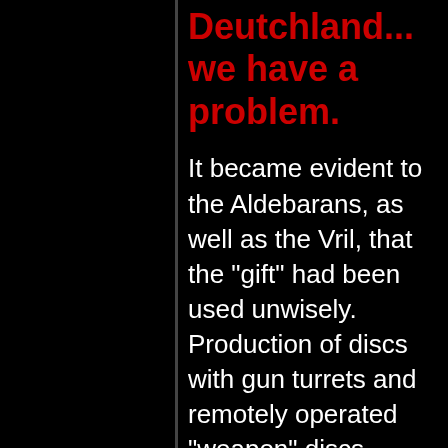Deutchland... we have a problem.
It became evident to the Aldebarans, as well as the Vril, that the "gift" had been used unwisely. Production of discs with gun turrets and remotely operated "weapon" discs contradicted the